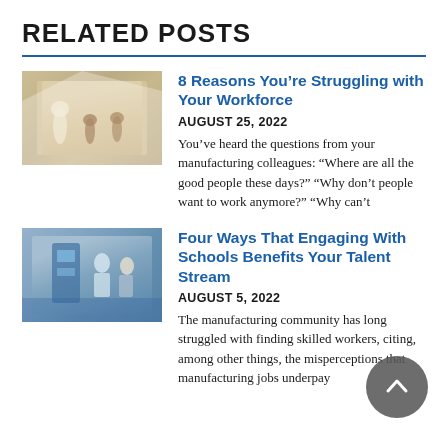RELATED POSTS
[Figure (photo): Thumbnail image for '8 Reasons You're Struggling with Your Workforce' — chess pieces on a board suggesting strategy]
8 Reasons You're Struggling with Your Workforce
AUGUST 25, 2022
You've heard the questions from your manufacturing colleagues: “Where are all the good people these days?” “Why don’t people want to work anymore?” “Why can’t
[Figure (photo): Thumbnail image for 'Four Ways That Engaging With Schools Benefits Your Talent Stream' — people working with manufacturing equipment in a classroom or lab]
Four Ways That Engaging With Schools Benefits Your Talent Stream
AUGUST 5, 2022
The manufacturing community has long struggled with finding skilled workers, citing, among other things, the misperceptions that manufacturing jobs underpay